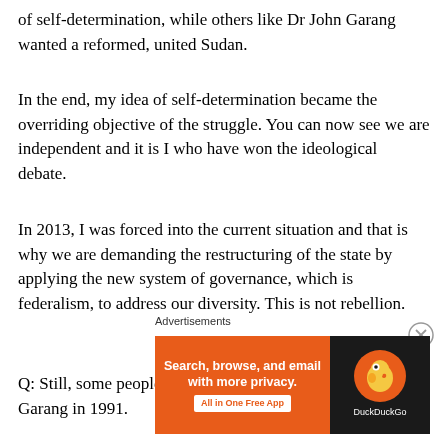of self-determination, while others like Dr John Garang wanted a reformed, united Sudan.
In the end, my idea of self-determination became the overriding objective of the struggle. You can now see we are independent and it is I who have won the ideological debate.
In 2013, I was forced into the current situation and that is why we are demanding the restructuring of the state by applying the new system of governance, which is federalism, to address our diversity. This is not rebellion.
Q: Still, some people accuse you of betraying Dr John Garang in 1991.
[Figure (infographic): DuckDuckGo advertisement banner: 'Search, browse, and email with more privacy. All in One Free App' with the DuckDuckGo duck logo on a dark background.]